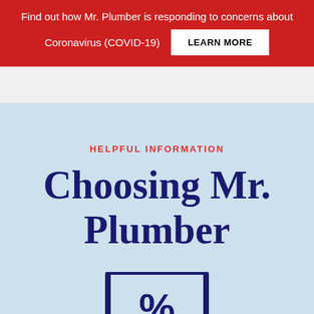Find out how Mr. Plumber is responding to concerns about Coronavirus (COVID-19)
LEARN MORE
HELPFUL INFORMATION
Choosing Mr. Plumber
[Figure (illustration): Partial icon/illustration visible at the bottom of the page, showing what appears to be a document or certificate icon with a checkmark, in dark navy blue, partially cropped]